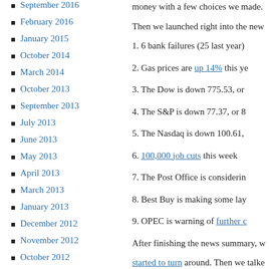September 2016
February 2016
January 2015
October 2014
March 2014
October 2013
September 2013
July 2013
June 2013
May 2013
April 2013
March 2013
January 2013
December 2012
November 2012
October 2012
money with a few choices we made.
Then we launched right into the new
1. 6 bank failures (25 last year)
2. Gas prices are up 14% this ye
3. The Dow is down 775.53, or
4. The S&P is down 77.37, or 8
5. The Nasdaq is down 100.61,
6. 100,000 job cuts this week
7. The Post Office is considerin
8. Best Buy is making some lay
9. OPEC is warning of further c
After finishing the news summary, w
started to turn around. Then we talke